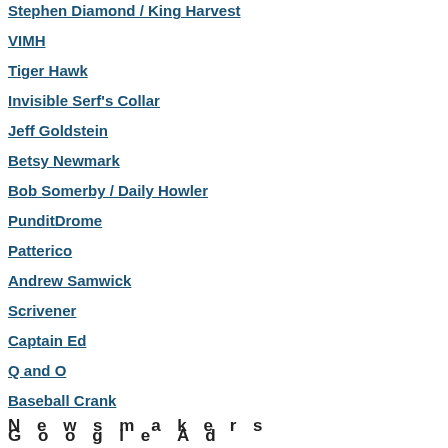Stephen Diamond / King Harvest
VIMH
Tiger Hawk
Invisible Serf's Collar
Jeff Goldstein
Betsy Newmark
Bob Somerby / Daily Howler
PunditDrome
Patterico
Andrew Samwick
Scrivener
Captain Ed
Q and O
Baseball Crank
G o o g l e  A d
N e w s m a k e r s
charged declaration later in the sa... occur. The question is whether it w... suggesting that it wasn't adequate... that."
Mr. Barr again defended his use o... Committee hearing on Wednesda... the F.B.I.'s investigative efforts du... inquiry likely went beyond the use... wiretap of a former Trump campai... interacted with a Russian intellige...
“Many people seem to assume th... occurred was a single confidential... Page, Mr. Barr said. “I would like t... strikes me as a fairly anemic effor... designed to stop the threat as it's...
Apparently the effort was less anemic tha...
Comments
(P.S. smacking it doesn't work...